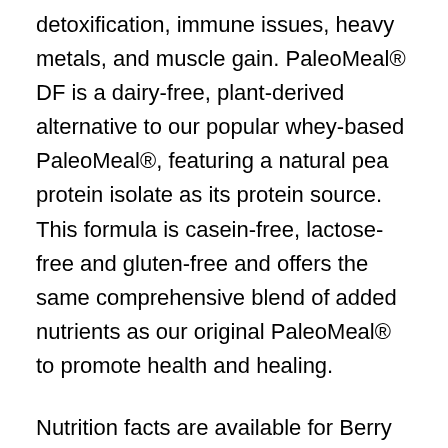detoxification, immune issues, heavy metals, and muscle gain. PaleoMeal® DF is a dairy-free, plant-derived alternative to our popular whey-based PaleoMeal®, featuring a natural pea protein isolate as its protein source. This formula is casein-free, lactose-free and gluten-free and offers the same comprehensive blend of added nutrients as our original PaleoMeal® to promote health and healing.
Nutrition facts are available for Berry and Vanilla.